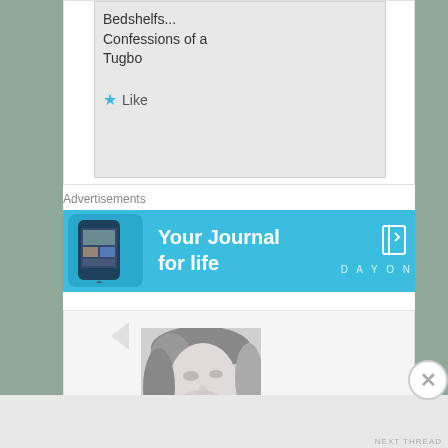Bedshelfs... Confessions of a Tugbo
Like
Advertisements
[Figure (screenshot): Blue advertisement banner reading 'Your Journal for life' with a phone graphic on the left and the DayOne logo/text on the right]
[Figure (photo): Black and white portrait photo of a woman with light hair looking upward]
Advertisements
NEXT THREAD